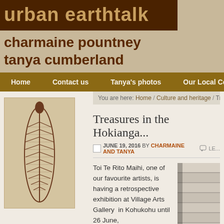urban earthtalk
charmaine pountney
tanya cumberland
Home   Contact us   Tanya's photos   Our Local Commu...
You are here: Home / Culture and heritage / Treas...
Treasures in the Hokianga...
JUNE 19, 2016 BY CHARMAINE AND TANYA
[Figure (illustration): Artwork showing a brown decorative leaf/feather pattern on beige background]
Toi Te Rito Maihi, one of our favourite artists, is having a retrospective exhibition at Village Arts Gallery  in Kohukohu until 26 June,
[Figure (photo): Partial photo showing wooden planks/boards in light tones]